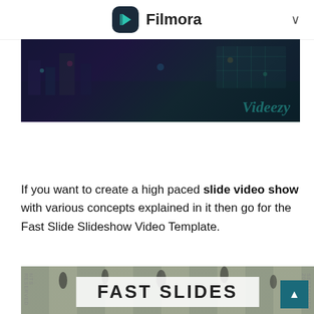Filmora
[Figure (photo): Dark night cityscape video thumbnail with colorful lights and Videezy watermark in teal italic text]
09  Fast Slide Slideshow Video Template
If you want to create a high paced slide video show with various concepts explained in it then go for the Fast Slide Slideshow Video Template.
[Figure (screenshot): Aerial view of pedestrians crossing a busy street crosswalk, with a white banner at the bottom reading FAST SLIDES]